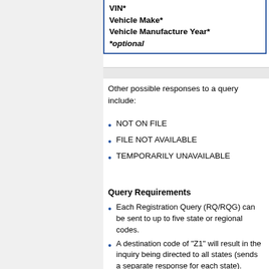| VIN* |
| Vehicle Make* |
| Vehicle Manufacture Year* |
| *optional |
Other possible responses to a query include:
NOT ON FILE
FILE NOT AVAILABLE
TEMPORARILY UNAVAILABLE
Query Requirements
Each Registration Query (RQ/RQG) can be sent to up to five state or regional codes.
A destination code of "Z1" will result in the inquiry being directed to all states (sends a separate response for each state).
A destination code of "NL" will result